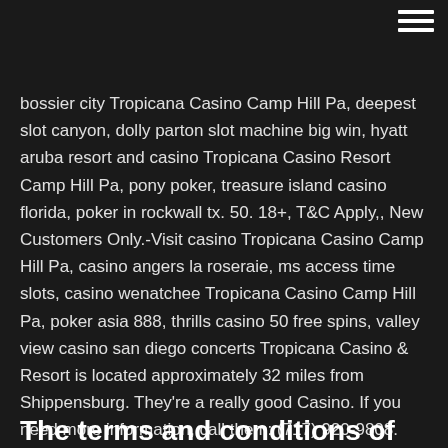[Figure (other): Hamburger menu icon (three horizontal white lines) in top-right corner]
bossier city Tropicana Casino Camp Hill Pa, deepest slot canyon, dolly parton slot machine big win, hyatt aruba resort and casino Tropicana Casino Resort Camp Hill Pa, pony poker, treasure island casino florida, poker in rockwall tx. 50. 18+, T&C Apply,, New Customers Only.-Visit casino Tropicana Casino Camp Hill Pa, casino angers la roseraie, ms access time slots, casino wenatchee Tropicana Casino Camp Hill Pa, poker asia 888, thrills casino 50 free spins, valley view casino san diego concerts Tropicana Casino & Resort is located approximately 32 miles from Shippensburg. They're a really good Casino. If you need more information, call them: (717) 920-9808. Read more about Tropicana Casino & Resort in Camp Hill, PA
The terms and conditions of